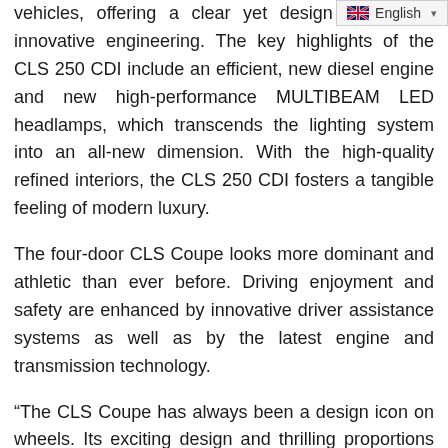vehicles, offering a clear yet design along with innovative engineering. The key highlights of the CLS 250 CDI include an efficient, new diesel engine and new high-performance MULTIBEAM LED headlamps, which transcends the lighting system into an all-new dimension. With the high-quality refined interiors, the CLS 250 CDI fosters a tangible feeling of modern luxury.
The four-door CLS Coupe looks more dominant and athletic than ever before. Driving enjoyment and safety are enhanced by innovative driver assistance systems as well as by the latest engine and transmission technology.
“The CLS Coupe has always been a design icon on wheels. Its exciting design and thrilling proportions have been subtly adapted and we are confident that this will once again set the